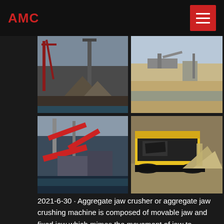AMC
[Figure (photo): Four-panel photo grid showing aggregate crushing and sand washing machinery: top-left shows piles of crushed stone with red steel structure, top-right shows an open mining/quarry site with conveyor equipment, bottom-left shows industrial crushing plant with red conveyor belts and equipment, bottom-right shows a yellow mobile jaw crusher machine discharging crushed aggregate.]
2021-6-30 · Aggregate jaw crusher or aggregate jaw crushing machine is composed of movable jaw and fixed jaw which mimes the movement of jaw to complete crushing. … Sand Washing Machine . The sand washer is a kind of highly efficient sand washing plant, taking the advanced techniques and the domestic physical conditions together into consideration. …